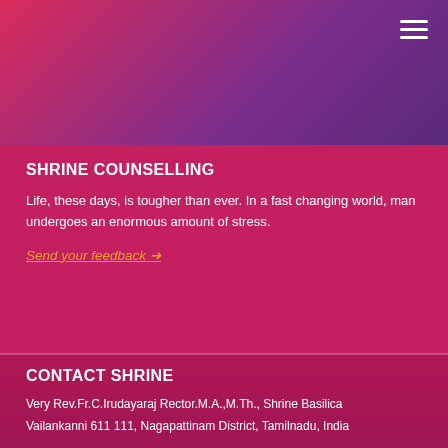[Figure (other): Top gradient banner background with hamburger menu icon in top right]
SHRINE COUNSELLING
Life, these days, is tougher than ever. In a fast changing world, man undergoes an enormous amount of stress.
Send your feedback ➔
CONTACT SHRINE
Very Rev.Fr.C.Irudayaraj Rector.M.A.,M.Th., Shrine Basilica
Vailankanni 611 111, Nagapattinam District, Tamilnadu, India
+91 4365-263 423
info@vailankannishrine.net
rector@vailankannishrine.net